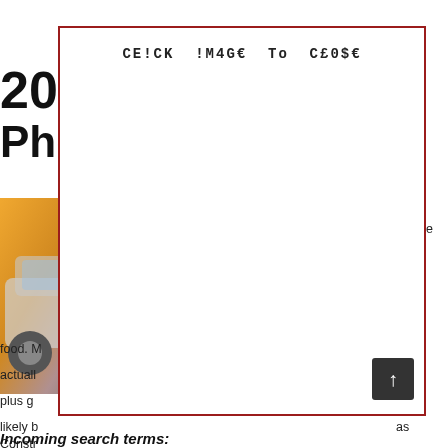202
Pho
[Figure (photo): A car (SUV/truck) photographed outdoors with warm golden/orange background lighting, partially visible on left side of page]
[Figure (screenshot): Modal overlay dialog with dark red border containing the text 'CE!CK !M4GE TO CE0$E' at the top in monospace font. The overlay covers most of the page content. A scroll-to-top button (dark square with up arrow) appears at the bottom-right corner of the modal.]
release ered ss n the food. M u can actually auto plus g t will likely b as Constr
Incoming search terms: